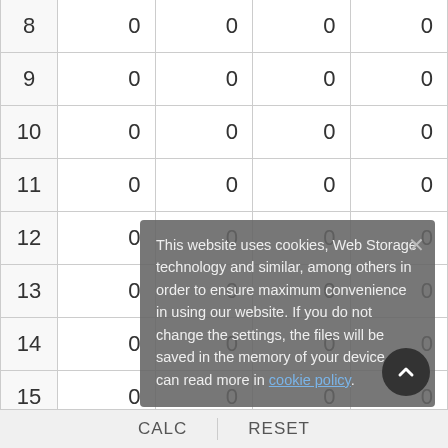| # | Col1 | Col2 | Col3 | Col4 |
| --- | --- | --- | --- | --- |
| 8 | 0 | 0 | 0 | 0 |
| 9 | 0 | 0 | 0 | 0 |
| 10 | 0 | 0 | 0 | 0 |
| 11 | 0 | 0 | 0 | 0 |
| 12 | 0 | 0 | 0 | 0 |
| 13 | 0 | 0 | 0 | 0 |
| 14 | 0 | 0 | 0 | 0 |
| 15 | 0 | 0 | 0 | 0 |
This website uses cookies, Web Storage technology and similar, among others in order to ensure maximum convenience in using our website. If you do not change the settings, the files will be saved in the memory of your device. You can read more in cookie policy.